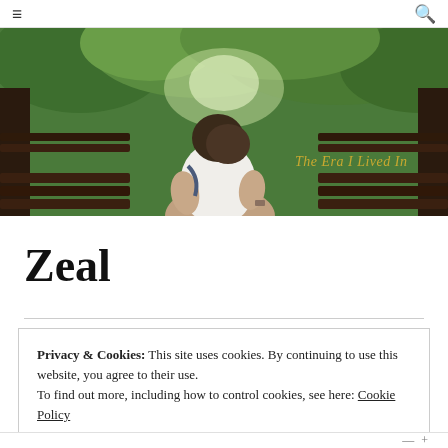≡  🔍
[Figure (photo): Woman sitting with back to camera on a wooden bench, looking out at lush green tropical foliage through open walls. Text overlay in gold italic script reads 'The Era I Lived In'.]
Zeal
Privacy & Cookies: This site uses cookies. By continuing to use this website, you agree to their use.
To find out more, including how to control cookies, see here: Cookie Policy
Close and accept